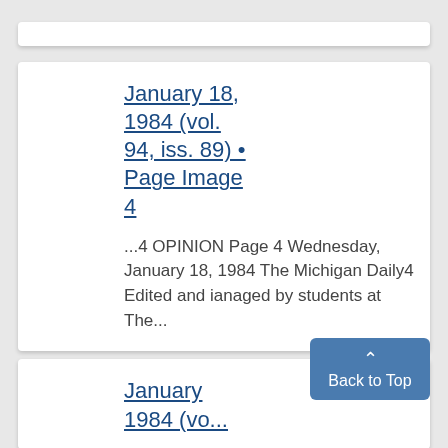January 18, 1984 (vol. 94, iss. 89) • Page Image 4
...4 OPINION Page 4 Wednesday, January 18, 1984 The Michigan Daily4 Edited and ianaged by students at The...
January 1984 (vol....